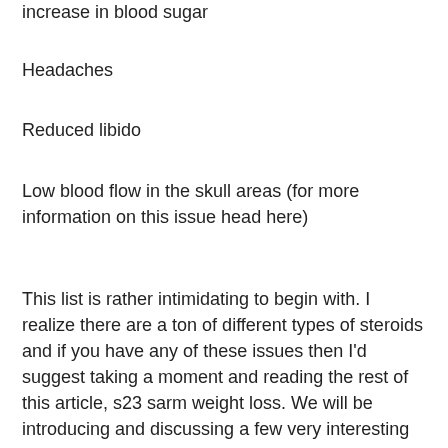increase in blood sugar
Headaches
Reduced libido
Low blood flow in the skull areas (for more information on this issue head here)
This list is rather intimidating to begin with. I realize there are a ton of different types of steroids and if you have any of these issues then I'd suggest taking a moment and reading the rest of this article, s23 sarm weight loss. We will be introducing and discussing a few very interesting and interesting drugs in the next few weeks and I would recommend you do the same, is it possible to lose weight while taking prednisone0.
Also, before you read any further let me be